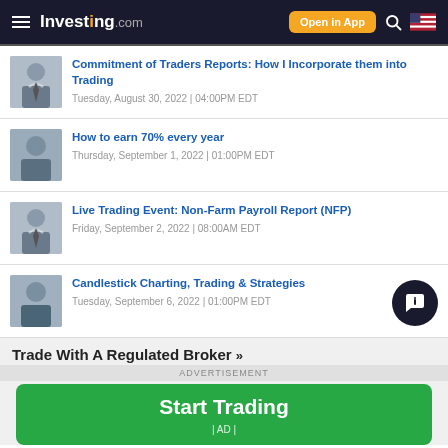Investing.com | Open in App
Commitment of Traders Reports: How I Incorporate them into Trading
Tuesday, August 30, 2022 | 04:00PM EDT
How to earn 70% every year
Thursday, September 1, 2022 | 01:00PM EDT
Live Trading Event: Non-Farm Payroll Report (NFP)
Friday, September 2, 2022 | 08:00AM EDT
Candlestick Charting, Trading & Strategies
Tuesday, September 6, 2022 | 01:00PM EDT
Trade With A Regulated Broker »
ADVERTISEMENT
Start Trading
| AD |